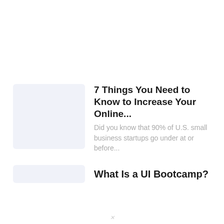[Figure (illustration): Light blue-gray rounded rectangle placeholder thumbnail image]
7 Things You Need to Know to Increase Your Online...
Did you know that 90% of U.S. small business startups go under at or before...
[Figure (illustration): Light blue-gray rounded rectangle placeholder thumbnail image, shorter height]
What Is a UI Bootcamp?